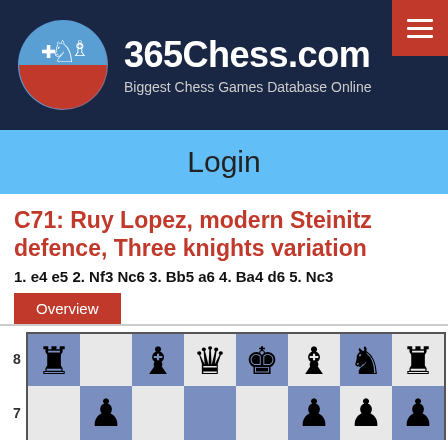365Chess.com — Biggest Chess Games Database Online
Login
C71: Ruy Lopez, modern Steinitz defence, Three knights variation
1. e4 e5 2. Nf3 Nc6 3. Bb5 a6 4. Ba4 d6 5. Nc3
Overview
[Figure (other): Chess board showing starting position for C71: Ruy Lopez, modern Steinitz defence, Three knights variation. Rows 7 and 8 visible, showing black pieces in standard arrangement with rank labels 8 and 7.]